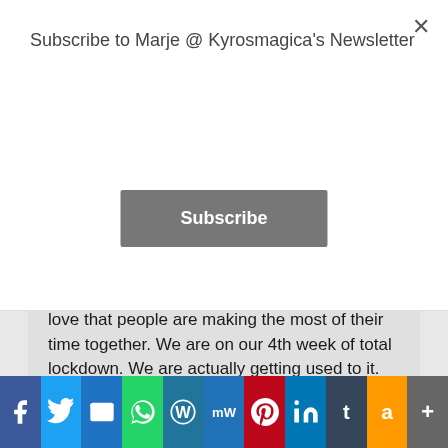Subscribe to Marje @ Kyrosmagica's Newsletter
Subscribe
love that people are making the most of their time together. We are on our 4th week of total lockdown. We are actually getting used to it. But it is working as we have less deaths every day.
Loading...
Marje @ Kyrosmagica
Advertisements
[Figure (screenshot): Social media share bar with Facebook, Twitter, Email, WhatsApp, WordPress, MeWe, Pinterest, LinkedIn, Tumblr, Amazon, and More buttons]